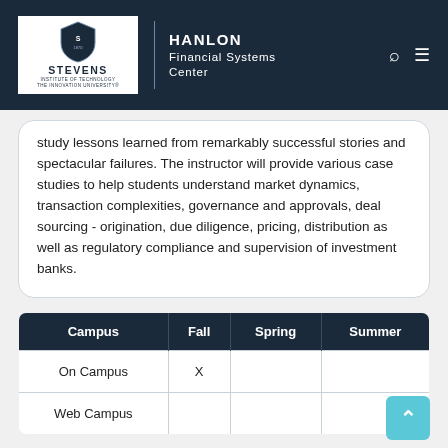Stevens Institute of Technology — Hanlon Financial Systems Center
study lessons learned from remarkably successful stories and spectacular failures. The instructor will provide various case studies to help students understand market dynamics, transaction complexities, governance and approvals, deal sourcing - origination, due diligence, pricing, distribution as well as regulatory compliance and supervision of investment banks.
| Campus | Fall | Spring | Summer |
| --- | --- | --- | --- |
| On Campus | X |  |  |
| Web Campus |  |  |  |